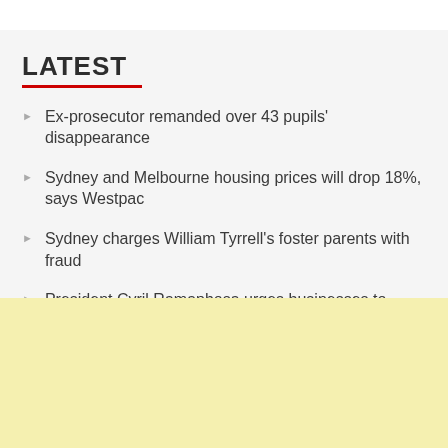LATEST
Ex-prosecutor remanded over 43 pupils' disappearance
Sydney and Melbourne housing prices will drop 18%, says Westpac
Sydney charges William Tyrrell's foster parents with fraud
President Cyril Ramaphosa urges businesses to